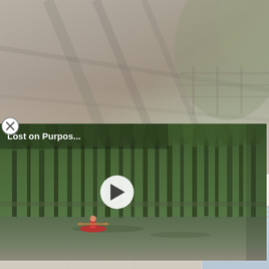[Figure (photo): Background photo of cabin/wooden structure with natural surroundings, muted/faded appearance]
These Stunning Cabins Are the Ultimate Zion National Park Basecamp
[Figure (screenshot): Video thumbnail showing a person kayaking or canoeing through a forested swamp/bayou with tall cypress trees. Title overlay reads 'Lost on Purpos...' with a circular play button in the center. A close (X) button is in the top-left corner.]
[Figure (photo): Partially visible background mosaic of building/room photos in muted blue and tan tones at the bottom of the page]